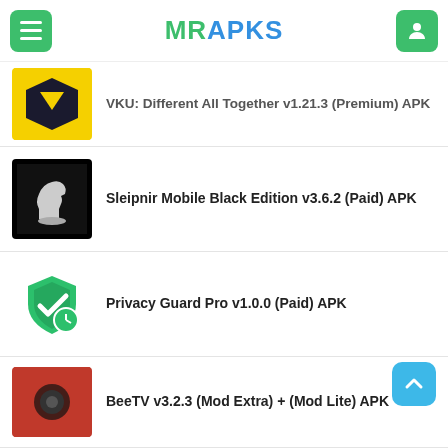MRAPKS
VKU: Different All Together v1.21.3 (Premium) APK
Sleipnir Mobile Black Edition v3.6.2 (Paid) APK
Privacy Guard Pro v1.0.0 (Paid) APK
BeeTV v3.2.3 (Mod Extra) + (Mod Lite) APK